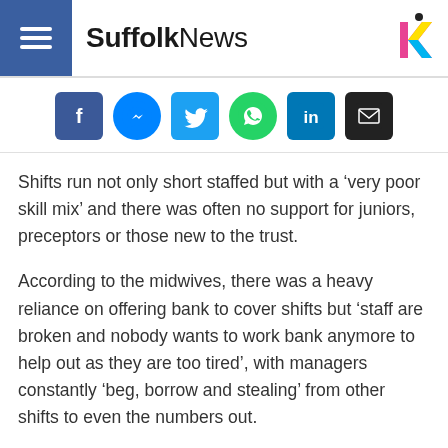SuffolkNews
[Figure (infographic): Row of social media sharing icons: Facebook, Messenger, Twitter, WhatsApp, LinkedIn, Email]
Shifts run not only short staffed but with a ‘very poor skill mix’ and there was often no support for juniors, preceptors or those new to the trust.
According to the midwives, there was a heavy reliance on offering bank to cover shifts but ‘staff are broken and nobody wants to work bank anymore to help out as they are too tired’, with managers constantly ‘beg, borrow and stealing’ from other shifts to even the numbers out.